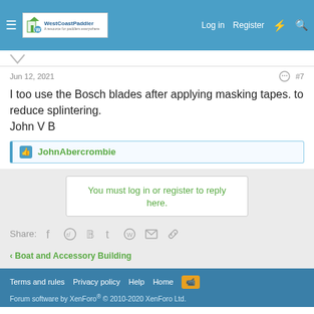WestCoastPaddler | Log in | Register
Jun 12, 2021  #7
I too use the Bosch blades after applying masking tapes. to reduce splintering.
John V B
JohnAbercrombie
You must log in or register to reply here.
Share:
< Boat and Accessory Building
Terms and rules  Privacy policy  Help  Home
Forum software by XenForo® © 2010-2020 XenForo Ltd.